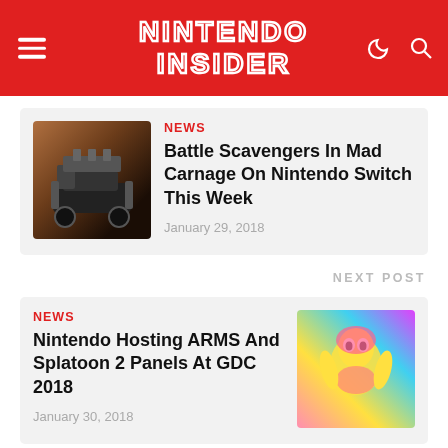NINTENDO INSIDER
NEWS
Battle Scavengers In Mad Carnage On Nintendo Switch This Week
January 29, 2018
NEXT POST
NEWS
Nintendo Hosting ARMS And Splatoon 2 Panels At GDC 2018
January 30, 2018